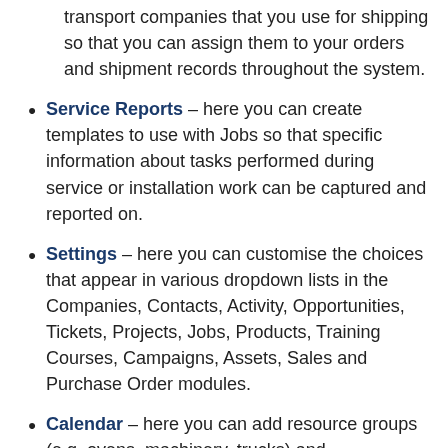transport companies that you use for shipping so that you can assign them to your orders and shipment records throughout the system.
Service Reports – here you can create templates to use with Jobs so that specific information about tasks performed during service or installation work can be captured and reported on.
Settings – here you can customise the choices that appear in various dropdown lists in the Companies, Contacts, Activity, Opportunities, Tickets, Projects, Jobs, Products, Training Courses, Campaigns, Assets, Sales and Purchase Order modules.
Calendar – here you can add resource groups (e.g. ovens, machinery, trucks) and